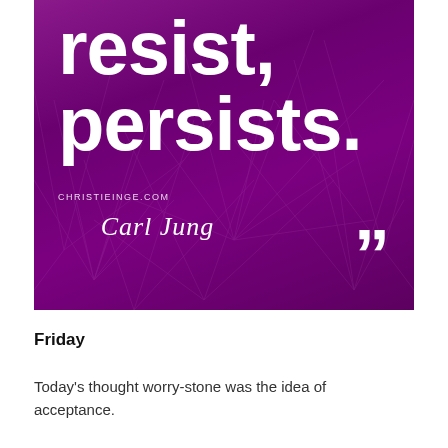[Figure (illustration): Purple motivational quote image with cactus/dandelion texture background. Large white bold text reads 'resist, persists.' with watermark 'CHRISTIEINGE.COM', italic script attribution 'Carl Jung', and closing double quotation marks in white. Purple gradient background.]
Friday
Today's thought worry-stone was the idea of acceptance.